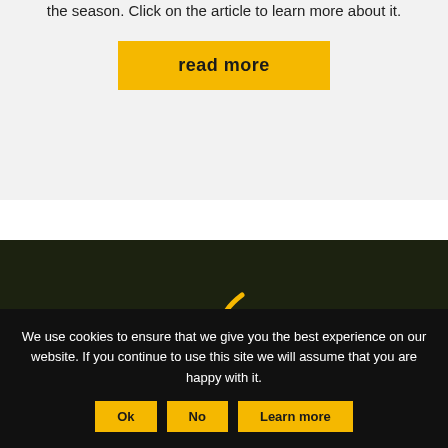the season. Click on the article to learn more about it.
read more
[Figure (logo): Véto-pharma logo with golden arc bracket and white text on dark background]
We use cookies to ensure that we give you the best experience on our website. If you continue to use this site we will assume that you are happy with it.
Ok
No
Learn more